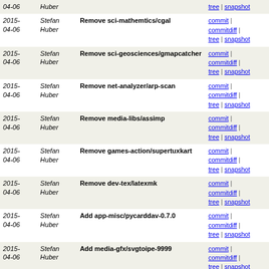| Date | Author | Message | Links |
| --- | --- | --- | --- |
| 2015-04-06 | Stefan Huber | Remove sci-mathemtics/cgal | commit | commitdiff | tree | snapshot |
| 2015-04-06 | Stefan Huber | Remove sci-geosciences/gmapcatcher | commit | commitdiff | tree | snapshot |
| 2015-04-06 | Stefan Huber | Remove net-analyzer/arp-scan | commit | commitdiff | tree | snapshot |
| 2015-04-06 | Stefan Huber | Remove media-libs/assimp | commit | commitdiff | tree | snapshot |
| 2015-04-06 | Stefan Huber | Remove games-action/supertuxkart | commit | commitdiff | tree | snapshot |
| 2015-04-06 | Stefan Huber | Remove dev-tex/latexmk | commit | commitdiff | tree | snapshot |
| 2015-04-06 | Stefan Huber | Add app-misc/pycarddav-0.7.0 | commit | commitdiff | tree | snapshot |
| 2015-04-06 | Stefan Huber | Add media-gfx/svgtoipe-9999 | commit | commitdiff | tree | snapshot |
| 2015-04-06 | Stefan Huber | Add media-gfx/pdftoipe-9999 | commit | commitdiff | tree | snapshot |
| 2015-04-06 | Stefan Huber | media-gfx/figtoipe: Add sys-libs/zlib to DEPENDS | commit | commitdiff | tree | snapshot |
| 2015-04-06 | Stefan Huber | Add media-gfx/ipe5toxml-9999 | commit | commitdiff | tree | snapshot |
| 2015-04-06 | Stefan Huber | Add media-gfx/figtoipe-9999 | commit | commitdiff | tree | snapshot |
| 2015-02-23 | Stefan Huber | Add ipe-7.1.7 | commit | commitdiff | tree | snapshot |